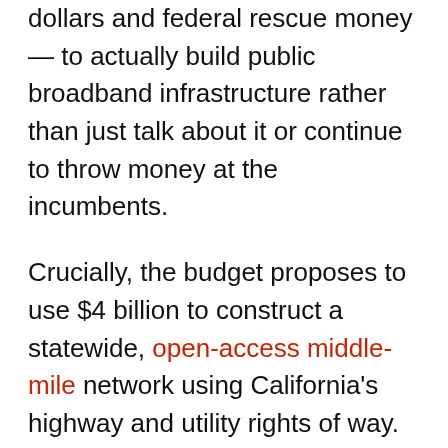dollars and federal rescue money — to actually build public broadband infrastructure rather than just talk about it or continue to throw money at the incumbents.
Crucially, the budget proposes to use $4 billion to construct a statewide, open-access middle-mile network using California's highway and utility rights of way. It's by far the most visionary broadband plan California has ever had, a watershed for a state that has never had the infrastructure to match its vaunted innovation. Open access networks have succeeded elsewhere, and can succeed here.
Now the plan just has to get through the State Legislature, and there's the rub.  The California